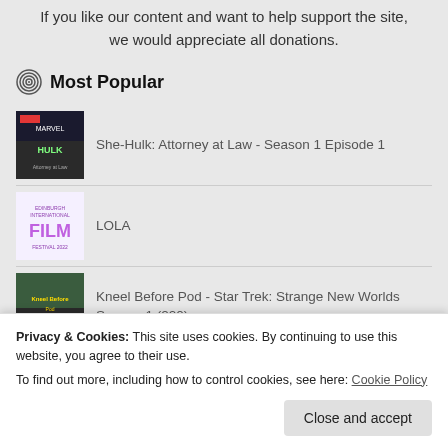If you like our content and want to help support the site, we would appreciate all donations.
Most Popular
She-Hulk: Attorney at Law - Season 1 Episode 1
LOLA
Kneel Before Pod - Star Trek: Strange New Worlds Season 1 (220)
Thunderbirds Are Go - Season 2
Privacy & Cookies: This site uses cookies. By continuing to use this website, you agree to their use.
To find out more, including how to control cookies, see here: Cookie Policy
Close and accept